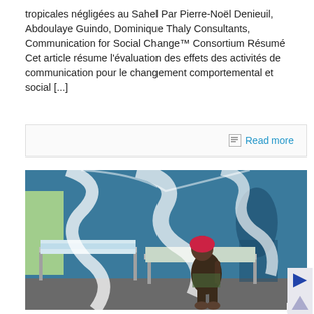tropicales négligées au Sahel Par Pierre-Noël Denieuil, Abdoulaye Guindo, Dominique Thaly Consultants, Communication for Social Change™ Consortium Résumé Cet article résume l'évaluation des effets des activités de communication pour le changement comportemental et social [...]
Read more
[Figure (photo): A woman with a red head wrap sits on a hospital bed under a white mosquito net in a clinic with blue walls]